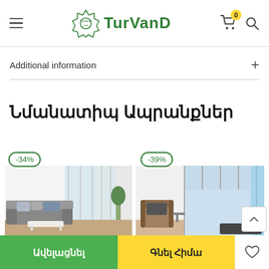TurVanD
Additional information
Նմանատիպ Ապրանքներ
[Figure (photo): Living room with gray sectional sofa, white coffee table, large windows. Discount badge: -34%]
[Figure (photo): Modern living room with wicker armchair, floor-to-ceiling windows, city view. Discount badge: -39%]
Ավելացնել
Գնել Հիմա